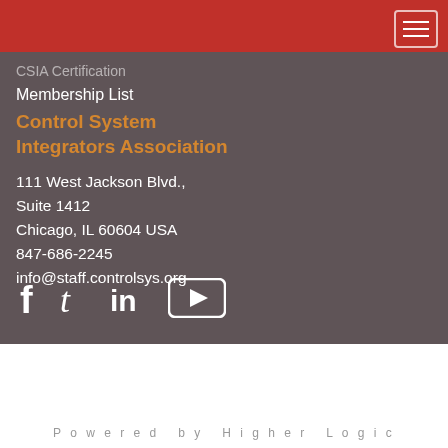CSIA Certification
Membership List
Control System Integrators Association
111 West Jackson Blvd., Suite 1412
Chicago, IL 60604 USA
847-686-2245
info@staff.controlsys.org
[Figure (illustration): Social media icons: Facebook (f), Twitter (t), LinkedIn (in), YouTube (play button)]
© 2022 Control System Integrators Association
Powered by Higher Logic